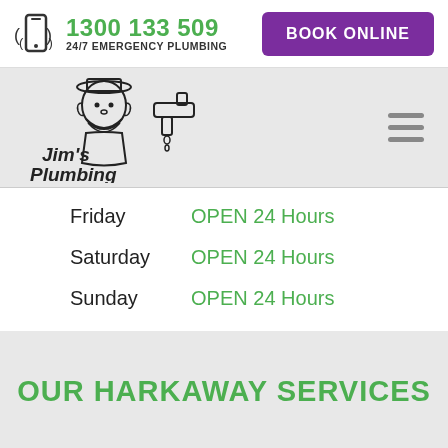1300 133 509 | 24/7 EMERGENCY PLUMBING | BOOK ONLINE
[Figure (logo): Jim's Plumbing logo with cartoon plumber character and faucet illustration]
| Day | Hours |
| --- | --- |
| Friday | OPEN 24 Hours |
| Saturday | OPEN 24 Hours |
| Sunday | OPEN 24 Hours |
OUR HARKAWAY SERVICES